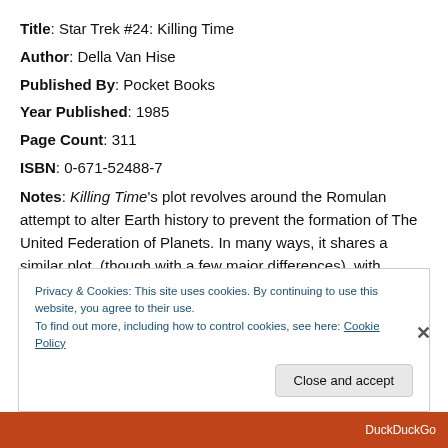Title: Star Trek #24: Killing Time
Author: Della Van Hise
Published By: Pocket Books
Year Published: 1985
Page Count: 311
ISBN: 0-671-52488-7
Notes: Killing Time's plot revolves around the Romulan attempt to alter Earth history to prevent the formation of The United Federation of Planets. In many ways, it shares a similar plot, (though with a few major differences), with
Privacy & Cookies: This site uses cookies. By continuing to use this website, you agree to their use.
To find out more, including how to control cookies, see here: Cookie Policy
Close and accept